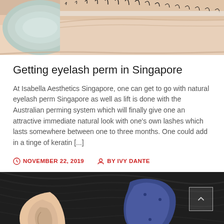[Figure (photo): Close-up photo of a person's closed eye with an eyelash treatment/tape applied, eyelash perm procedure]
Getting eyelash perm in Singapore
At Isabella Aesthetics Singapore, one can get to go with natural eyelash perm Singapore as well as lift is done with the Australian perming system which will finally give one an attractive immediate natural look with one's own lashes which lasts somewhere between one to three months. One could add in a tinge of keratin [...]
NOVEMBER 22, 2019   BY IVY DANTE
[Figure (photo): Close-up photo of a person's ear with a hearing aid device, dark hair visible in background]